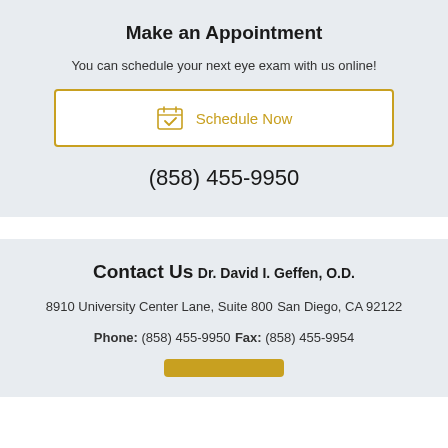Make an Appointment
You can schedule your next eye exam with us online!
[Figure (other): Schedule Now button with calendar icon, gold border]
(858) 455-9950
Contact Us
Dr. David I. Geffen, O.D.
8910 University Center Lane, Suite 800
San Diego, CA 92122
Phone: (858) 455-9950
Fax: (858) 455-9954